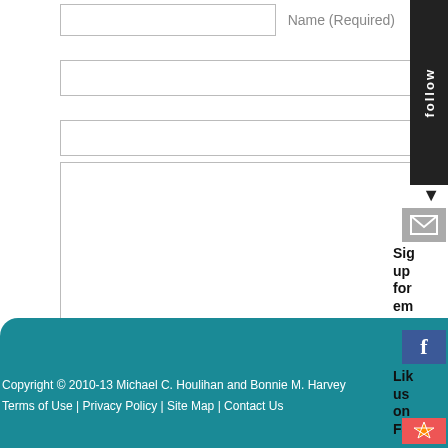Name (Required)
Mail (will not be published) (Required)
Website
Submit Comment
Copyright © 2010-13 Michael C. Houlihan and Bonnie M. Harvey
Terms of Use | Privacy Policy | Site Map | Contact Us
follow
Sign up for em...
Like us on Fa...